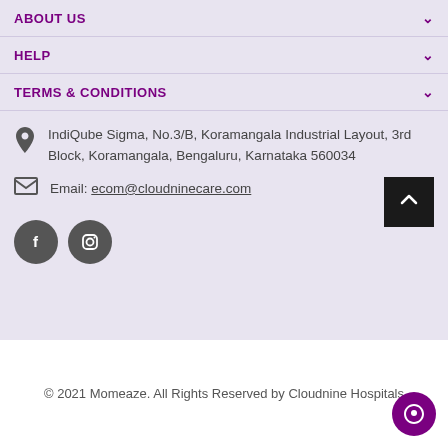ABOUT US
HELP
TERMS & CONDITIONS
IndiQube Sigma, No.3/B, Koramangala Industrial Layout, 3rd Block, Koramangala, Bengaluru, Karnataka 560034
Email: ecom@cloudninecare.com
[Figure (other): Social media icons: Facebook and Instagram circular buttons]
© 2021 Momeaze. All Rights Reserved by Cloudnine Hospitals